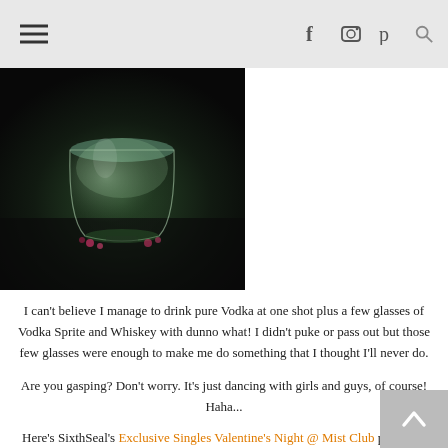≡  f  [camera]  p  [search]
[Figure (photo): Dark photo of a glass drink/cocktail on a table, appears to be a bar setting with green ambient lighting]
I can't believe I manage to drink pure Vodka at one shot plus a few glasses of Vodka Sprite and Whiskey with dunno what! I didn't puke or pass out but those few glasses were enough to make me do something that I thought I'll never do.
Are you gasping? Don't worry. It's just dancing with girls and guys, of course! Haha...
Here's SixthSeal's Exclusive Singles Valentine's Night @ Mist Club post.
And getting lost on highways before reaching home at 3 something in the morning was fun. Hell, I hate GPS. I love road signs better. XD